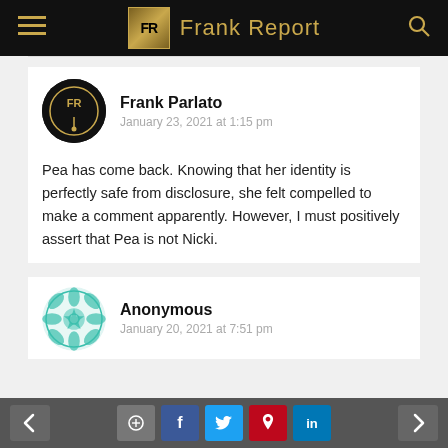Frank Report
[Figure (screenshot): Frank Report website comment section showing two comments: one by Frank Parlato dated January 23 2021 at 1:15 pm, and one by Anonymous dated January 20 2021 at 7:51 pm. A bottom navigation bar with share buttons is visible.]
Frank Parlato
January 23, 2021 at 1:15 pm
Pea has come back. Knowing that her identity is perfectly safe from disclosure, she felt compelled to make a comment apparently. However, I must positively assert that Pea is not Nicki.
Anonymous
January 20, 2021 at 7:51 pm